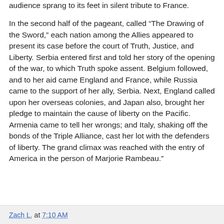audience sprang to its feet in silent tribute to France.
In the second half of the pageant, called “The Drawing of the Sword,” each nation among the Allies appeared to present its case before the court of Truth, Justice, and Liberty. Serbia entered first and told her story of the opening of the war, to which Truth spoke assent. Belgium followed, and to her aid came England and France, while Russia came to the support of her ally, Serbia. Next, England called upon her overseas colonies, and Japan also, brought her pledge to maintain the cause of liberty on the Pacific. Armenia came to tell her wrongs; and Italy, shaking off the bonds of the Triple Alliance, cast her lot with the defenders of liberty. The grand climax was reached with the entry of America in the person of Marjorie Rambeau.”
Zach L. at 7:10 AM